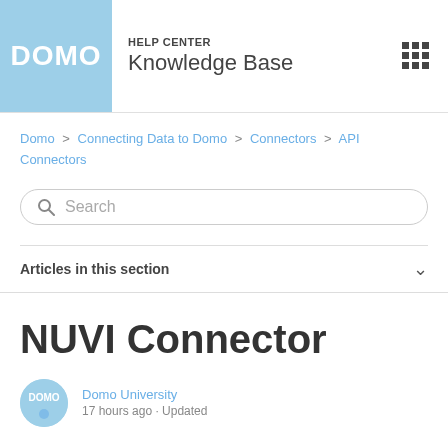HELP CENTER Knowledge Base
Domo > Connecting Data to Domo > Connectors > API Connectors
Search
Articles in this section
NUVI Connector
Domo University
17 hours ago · Updated